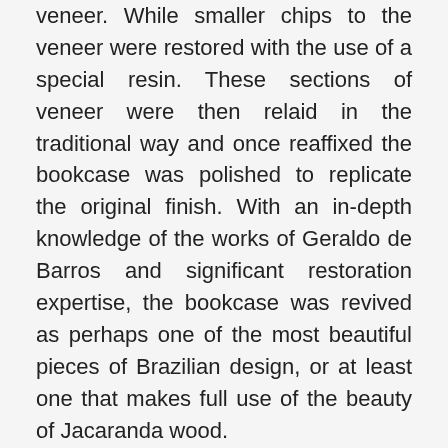veneer. While smaller chips to the veneer were restored with the use of a special resin. These sections of veneer were then relaid in the traditional way and once reaffixed the bookcase was polished to replicate the original finish. With an in-depth knowledge of the works of Geraldo de Barros and significant restoration expertise, the bookcase was revived as perhaps one of the most beautiful pieces of Brazilian design, or at least one that makes full use of the beauty of Jacaranda wood.
Side Gallery's booth also consisted of several of the photographic works of Geraldo de Barros made between 1949 and 1954. The photographs included experimental subjects that mix classic photographic procedures with creative visual experiments. Geraldo de Barros's artistic trajectory put him at the forefront of experimental photography, and in 1951 he held the Fotoformas exhibition at the Museu de Arte de São Paulo. In the Fotoforma